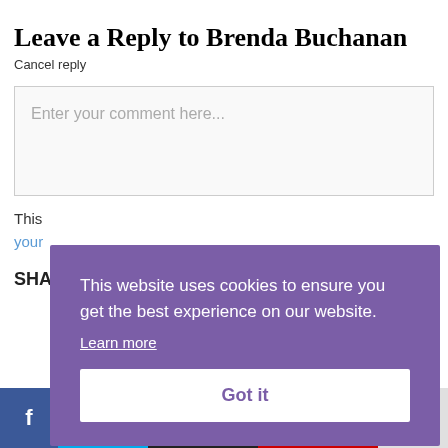Leave a Reply to Brenda Buchanan
Cancel reply
Enter your comment here...
This website uses cookies to ensure you get the best experience on our website.
Learn more
Got it